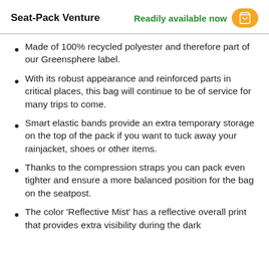Seat-Pack Venture   Readily available now
Made of 100% recycled polyester and therefore part of our Greensphere label.
With its robust appearance and reinforced parts in critical places, this bag will continue to be of service for many trips to come.
Smart elastic bands provide an extra temporary storage on the top of the pack if you want to tuck away your rainjacket, shoes or other items.
Thanks to the compression straps you can pack even tighter and ensure a more balanced position for the bag on the seatpost.
The color 'Reflective Mist' has a reflective overall print that provides extra visibility during the dark